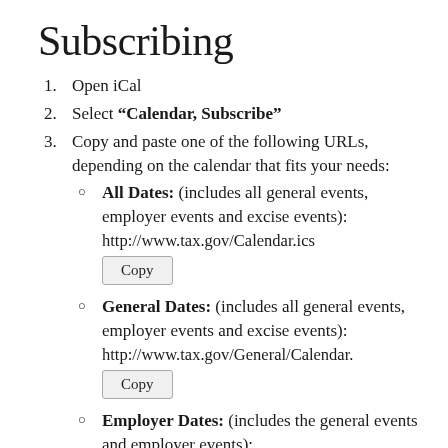Subscribing
Open iCal
Select “Calendar, Subscribe”
Copy and paste one of the following URLs, depending on the calendar that fits your needs:
All Dates: (includes all general events, employer events and excise events): http://www.tax.gov/Calendar.ics
General Dates: (includes all general events, employer events and excise events): http://www.tax.gov/General/Calendar.
Employer Dates: (includes the general events and employer events): http://www.tax.gov/Employer/Calend: